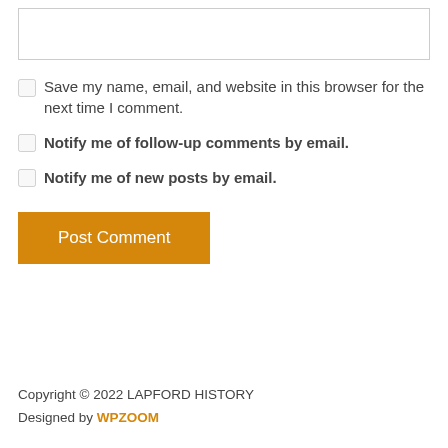[Figure (screenshot): Empty textarea input box with light grey border]
Save my name, email, and website in this browser for the next time I comment.
Notify me of follow-up comments by email.
Notify me of new posts by email.
Post Comment
Copyright © 2022 LAPFORD HISTORY
Designed by WPZOOM